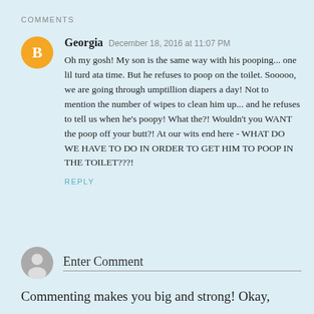COMMENTS
Georgia  December 18, 2016 at 11:07 PM

Oh my gosh! My son is the same way with his pooping... one lil turd ata time. But he refuses to poop on the toilet. Sooooo, we are going through umptillion diapers a day! Not to mention the number of wipes to clean him up... and he refuses to tell us when he's poopy! What the?! Wouldn't you WANT the poop off your butt?! At our wits end here - WHAT DO WE HAVE TO DO IN ORDER TO GET HIM TO POOP IN THE TOILET???!
REPLY
Enter Comment
Commenting makes you big and strong! Okay,